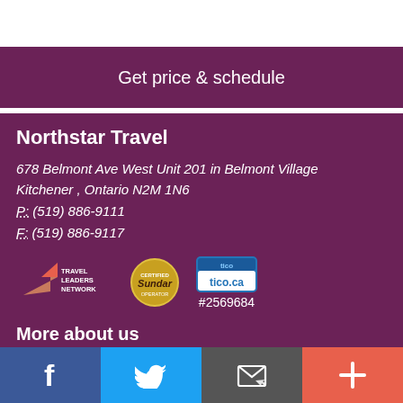Get price & schedule
Northstar Travel
678 Belmont Ave West Unit 201 in Belmont Village
Kitchener , Ontario N2M 1N6
P: (519) 886-9111
F: (519) 886-9117
[Figure (logo): Travel Leaders Network logo, Sundar certified operator logo, tico.ca registration logo with number #2569684]
More about us
About Us
[Figure (infographic): Social media bar with Facebook, Twitter, email/newsletter, and plus buttons]